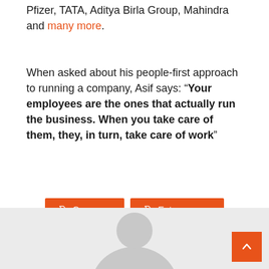Pfizer, TATA, Aditya Birla Group, Mahindra and many more.
When asked about his people-first approach to running a company, Asif says: “Your employees are the ones that actually run the business. When you take care of them, they, in turn, take care of work”
Company
Entrepreneur
Funds
Morning Mail
Startup
[Figure (illustration): User avatar placeholder — grey background with a generic person silhouette icon (head and shoulders, light grey).]